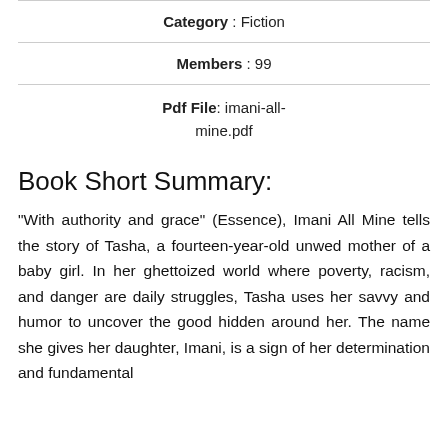Category : Fiction
Members : 99
Pdf File: imani-all-mine.pdf
Book Short Summary:
"With authority and grace" (Essence), Imani All Mine tells the story of Tasha, a fourteen-year-old unwed mother of a baby girl. In her ghettoized world where poverty, racism, and danger are daily struggles, Tasha uses her savvy and humor to uncover the good hidden around her. The name she gives her daughter, Imani, is a sign of her determination and fundamental